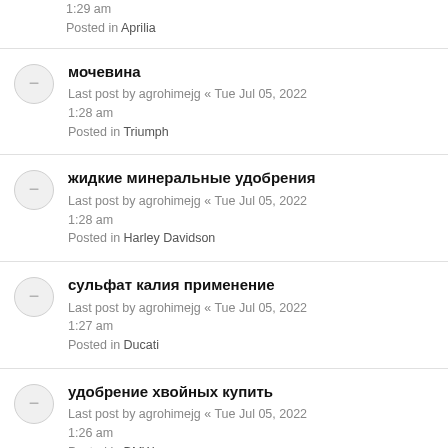1:29 am
Posted in Aprilia
мочевина
Last post by agrohimejg « Tue Jul 05, 2022 1:28 am
Posted in Triumph
жидкие минеральные удобрения
Last post by agrohimejg « Tue Jul 05, 2022 1:28 am
Posted in Harley Davidson
сульфат калия применение
Last post by agrohimejg « Tue Jul 05, 2022 1:27 am
Posted in Ducati
удобрение хвойных купить
Last post by agrohimejg « Tue Jul 05, 2022 1:26 am
Posted in BMW